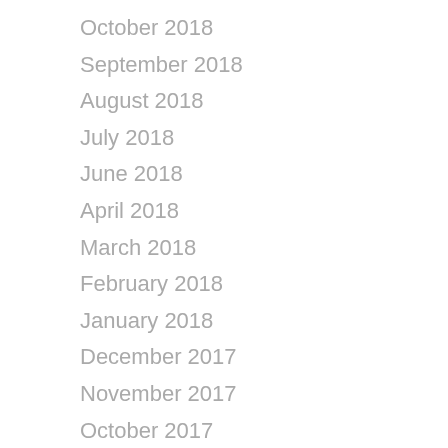October 2018
September 2018
August 2018
July 2018
June 2018
April 2018
March 2018
February 2018
January 2018
December 2017
November 2017
October 2017
August 2017
June 2017
May 2017
April 2017
March 2017